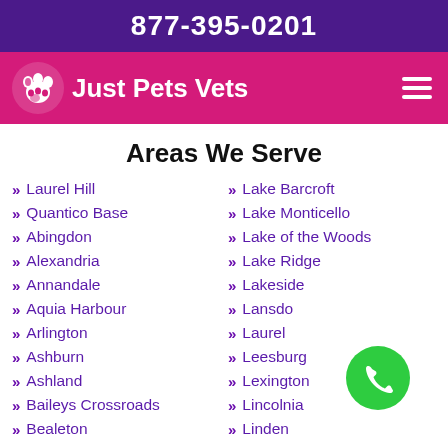877-395-0201
[Figure (logo): Just Pets Vets logo with paw print icon on pink/magenta navigation bar with hamburger menu]
Areas We Serve
Laurel Hill
Quantico Base
Abingdon
Alexandria
Annandale
Aquia Harbour
Arlington
Ashburn
Ashland
Baileys Crossroads
Bealeton
Lake Barcroft
Lake Monticello
Lake of the Woods
Lake Ridge
Lakeside
Lansdo...
Laurel
Leesburg
Lexington
Lincolnia
Linden